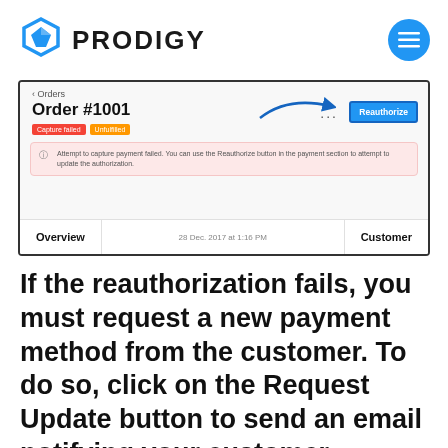[Figure (logo): Prodigy logo with blue geometric icon and bold text PRODIGY, plus hamburger menu button (blue circle)]
[Figure (screenshot): Screenshot of Prodigy admin order page showing Order #1001 with Capture failed and Unfulfilled tags, a pink error alert about failed payment capture, a Reauthorize button with blue arrow pointing to it, and Overview / Customer tabs at the bottom.]
If the reauthorization fails, you must request a new payment method from the customer. To do so, click on the Request Update button to send an email notifying your customer.